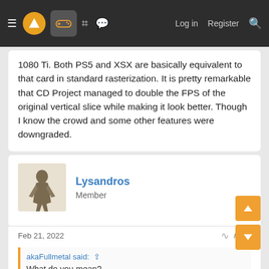Navigation bar with menu, logo, controller icon, forum icons, Log in, Register, Search
1080 Ti. Both PS5 and XSX are basically equivalent to that card in standard rasterization. It is pretty remarkable that CD Project managed to double the FPS of the original vertical slice while making it look better. Though I know the crowd and some other features were downgraded.
Lysandros
Member
Feb 21, 2022   #198
akaFullmetal said: ↑
What do you mean?
Isn't it obvious? The post itself is very mysterious as to its meaning, symbolysing the mysterious origin of PS5 power.